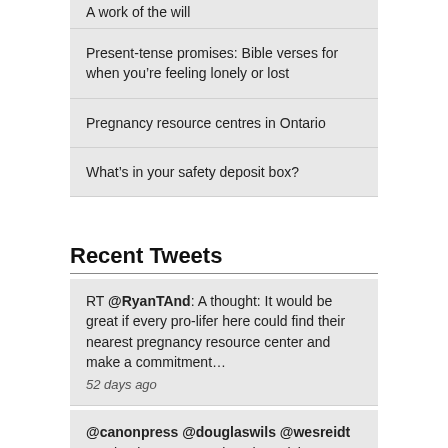A work of the will
Present-tense promises: Bible verses for when you’re feeling lonely or lost
Pregnancy resource centres in Ontario
What’s in your safety deposit box?
Recent Tweets
RT @RyanTAnd: A thought: It would be great if every pro-lifer here could find their nearest pregnancy resource center and make a commitment…
52 days ago
@canonpress @douglaswils @wesreidt OK thank you! Appreciate the quick response.
over a year ago
@canonpress Is @douglaswils Man Rampant not available on